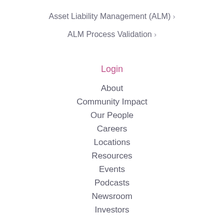Asset Liability Management (ALM) ›
ALM Process Validation ›
Login
About
Community Impact
Our People
Careers
Locations
Resources
Events
Podcasts
Newsroom
Investors